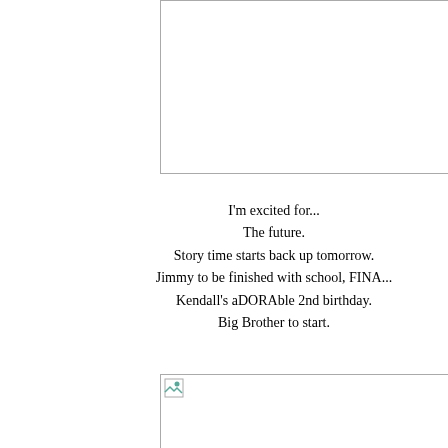[Figure (photo): Placeholder image box at top right, partially visible, with light gray border]
I'm excited for...
The future.
Story time starts back up tomorrow.
Jimmy to be finished with school, FINA...
Kendall's aDORAble 2nd birthday.
Big Brother to start.
[Figure (photo): Placeholder image box at bottom right, partially visible, with small broken image icon]